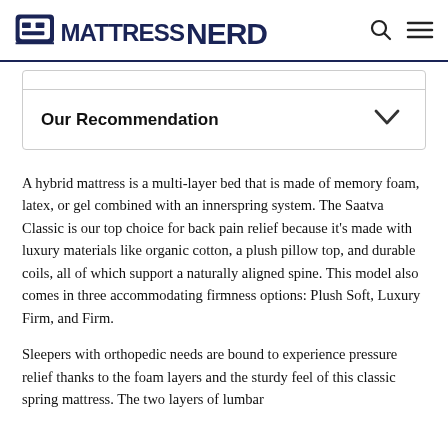MattressNerd
Our Recommendation
A hybrid mattress is a multi-layer bed that is made of memory foam, latex, or gel combined with an innerspring system. The Saatva Classic is our top choice for back pain relief because it’s made with luxury materials like organic cotton, a plush pillow top, and durable coils, all of which support a naturally aligned spine. This model also comes in three accommodating firmness options: Plush Soft, Luxury Firm, and Firm.
Sleepers with orthopedic needs are bound to experience pressure relief thanks to the foam layers and the sturdy feel of this classic spring mattress. The two layers of lumbar